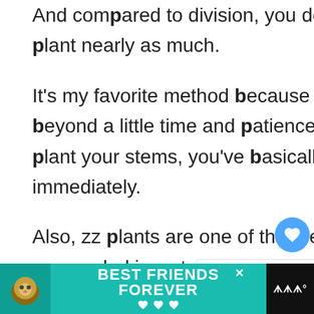And compared to division, you don't disturb the mother plant nearly as much.
It's my favorite method because minimal work is required beyond a little time and patience and when you're ready to plant your stems, you've basically got a full grown plant immediately.
Also, zz plants are one of the prettiest-looking plants when suspended in water.
And since it takes such as long time, y... them as a piece of decor while you wait for roots to...
[Figure (screenshot): Ad banner at bottom: teal background with cat illustration, 'BEST FRIENDS FOREVER' text with hearts, and close button. Dark logo block on right.]